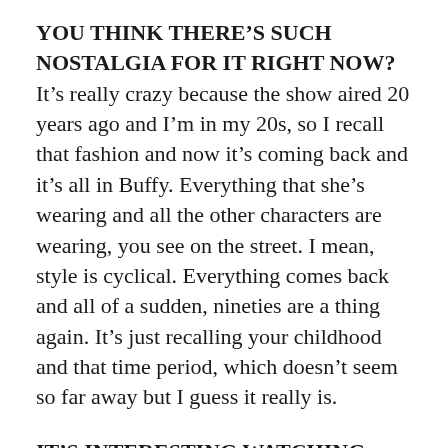YOU THINK THERE'S SUCH NOSTALGIA FOR IT RIGHT NOW? It's really crazy because the show aired 20 years ago and I'm in my 20s, so I recall that fashion and now it's coming back and it's all in Buffy. Everything that she's wearing and all the other characters are wearing, you see on the street. I mean, style is cyclical. Everything comes back and all of a sudden, nineties are a thing again. It's just recalling your childhood and that time period, which doesn't seem so far away but I guess it really is.
IT'S INTERESTING WATCHING THE LATER SEASONS WHEN BUFFY'S IN COLLEGE AND GETTING INTO THE PEASANT TOPS AND THE